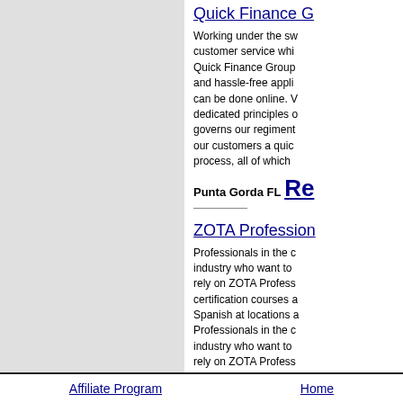Quick Finance G
Working under the sw customer service whi Quick Finance Group and hassle-free appli can be done online. dedicated principles governs our regiment our customers a quic process, all of which
Punta Gorda FL Re
ZOTA Profession
Professionals in the c industry who want to rely on ZOTA Profess certification courses a Spanish at locations Professionals in the c industry who want to rely on ZOTA Profess certification courses a Spanish at locations
Nationwide US Re
Affiliate Program   Home